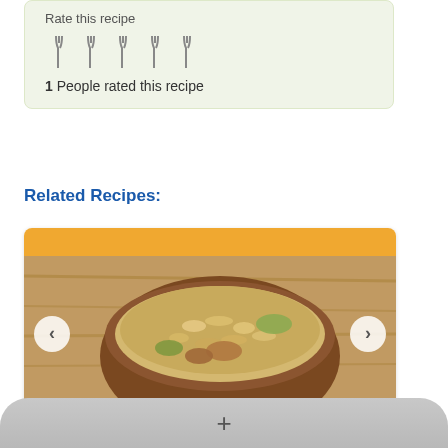Rate this recipe
[Figure (illustration): Five fork icons in a row representing a star/fork rating system]
1 People rated this recipe
Related Recipes:
[Figure (photo): Recipe card showing a bowl of Crockpot Parmesan Honey Pork Roast with navigation arrows, amber top bar, and black title bar]
+